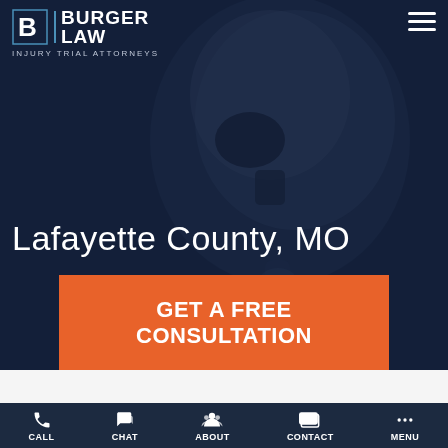[Figure (screenshot): Burger Law Injury Trial Attorneys logo with stylized B icon and hamburger menu icon on dark navy background with X-ray skull image overlay]
Lafayette County, MO
GET A FREE CONSULTATION
Or call (314) 500-HURT
CALL  CHAT  ABOUT  CONTACT  MENU